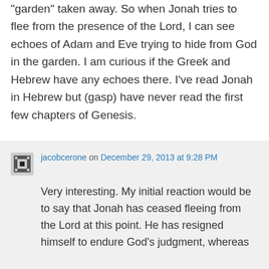"garden" taken away. So when Jonah tries to flee from the presence of the Lord, I can see echoes of Adam and Eve trying to hide from God in the garden. I am curious if the Greek and Hebrew have any echoes there. I've read Jonah in Hebrew but (gasp) have never read the first few chapters of Genesis.
↵ Reply
jacobcerone on December 29, 2013 at 9:28 PM
Very interesting. My initial reaction would be to say that Jonah has ceased fleeing from the Lord at this point. He has resigned himself to endure God's judgment, whereas